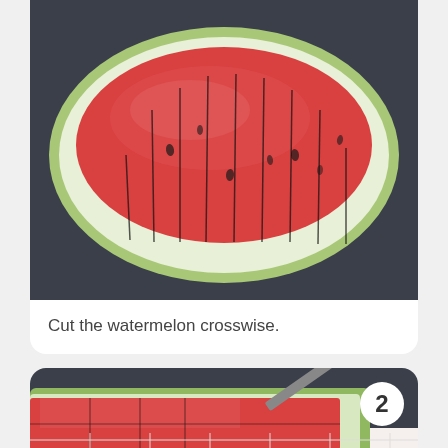[Figure (photo): A halved watermelon with vertical crosswise cuts through the red flesh, viewed from above on a dark surface.]
Cut the watermelon crosswise.
[Figure (photo): A watermelon slice lying flat with a knife making crosswise cuts, step 2 of a watermelon cutting tutorial.]